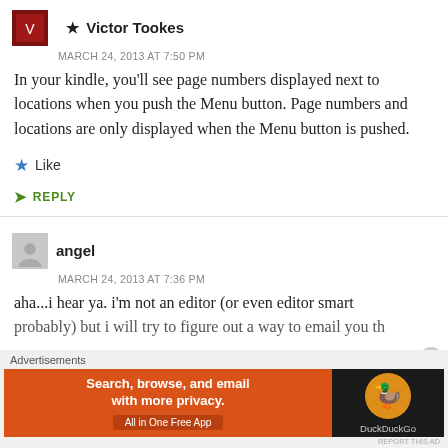★ Victor Tookes
MARCH 24, 2013 AT 7:50 PM
In your kindle, you'll see page numbers displayed next to locations when you push the Menu button. Page numbers and locations are only displayed when the Menu button is pushed.
Like
REPLY
angel
MARCH 24, 2013 AT 7:36 PM
aha...i hear ya. i'm not an editor (or even editor smart probably) but i will try to figure out a way to email you th
Advertisements
[Figure (other): DuckDuckGo advertisement banner: Search, browse, and email with more privacy. All in One Free App]